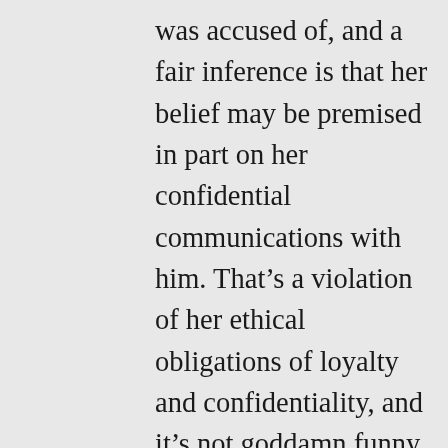was accused of, and a fair inference is that her belief may be premised in part on her confidential communications with him. That's a violation of her ethical obligations of loyalty and confidentiality, and it's not goddamn funny. It's completely inappropriate. It's easing her ethical duty to the former client in order to get a laugh line in an interview. The fact that it's common for attorneys to put